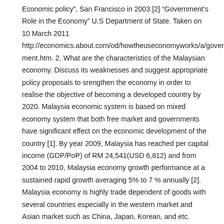Economic policy", San Francisco in 2003 [2] "Government's Role in the Economy" U.S Department of State. Taken on 10 March 2011 http://economics.about.com/od/howtheuseconomyworks/a/government.htm. 2. What are the characteristics of the Malaysian economy. Discuss its weaknesses and suggest appropriate policy proposals to srengthen the economy in order to realise the objective of becoming a developed country by 2020. Malaysia economic system is based on mixed economy system that both free market and governments have significant effect on the economic development of the country [1]. By year 2009, Malaysia has reached per capital income (GDP/PoP) of RM 24,541(USD 6,812) and from 2004 to 2010, Malaysia economy growth performance at a sustained rapid growth averaging 5% to 7 % annually [2]. Malaysia economy is highly trade dependent of goods with several countries especially in the western market and Asian market such as China, Japan, Korean, and etc. Malaysia government also promote an open developing economy to private enterprises to take part in country development projects [3].